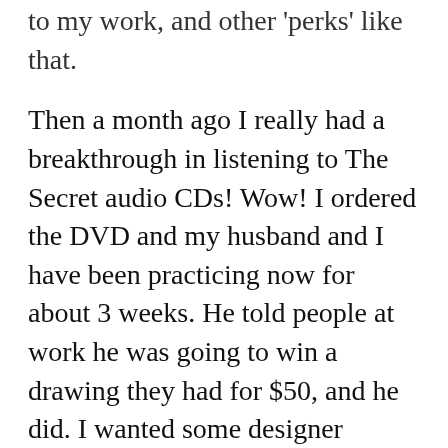to my work, and other 'perks' like that.
Then a month ago I really had a breakthrough in listening to The Secret audio CDs! Wow! I ordered the DVD and my husband and I have been practicing now for about 3 weeks. He told people at work he was going to win a drawing they had for $50, and he did. I wanted some designer sunglasses so as I walked into the store that's what I asked for in my price range. There they were on sale for half price. I took a trip to visit my mother and we were having tornadoes and very stormy weather, so I was concerned about the flight being delayed and the trip rocky – but I immediately said, no, the flight will be on time and smooth, that this was I...